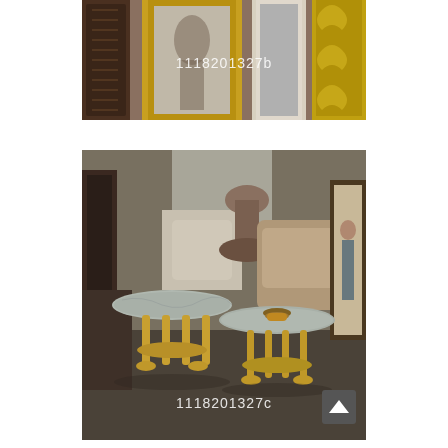[Figure (photo): Photo of antique mirrors and framed artwork in a shop or auction house. Multiple ornate gold and dark wood framed mirrors visible. Watermark text '1118201327b' overlaid on image.]
[Figure (photo): Photo of ornate antique tables with glass or marble tops on decorative gilded bases, surrounded by furniture and framed artwork in a warehouse or auction setting. Watermark text '1118201327c' overlaid on image.]